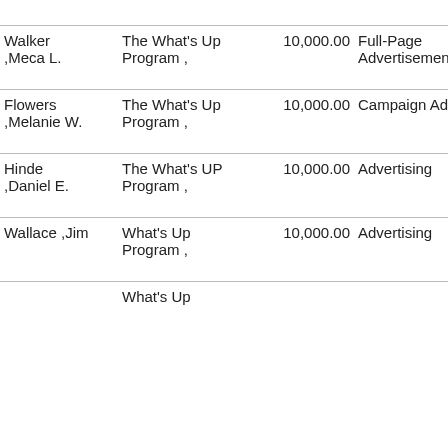| Name | Program | Amount | Description | Edition |
| --- | --- | --- | --- | --- |
| Walker ,Meca L. | The What's Up Program , | 10,000.00 | Full-Page Advertisement | 01
06
20 |
| Flowers ,Melanie W. | The What's Up Program , | 10,000.00 | Campaign Ads | 01
03
20 |
| Hinde ,Daniel E. | The What's UP Program , | 10,000.00 | Advertising | 12
27
20 |
| Wallace ,Jim | What's Up Program , | 10,000.00 | Advertising | 12
06
20 |
|  | What's Up |  |  | 01 |